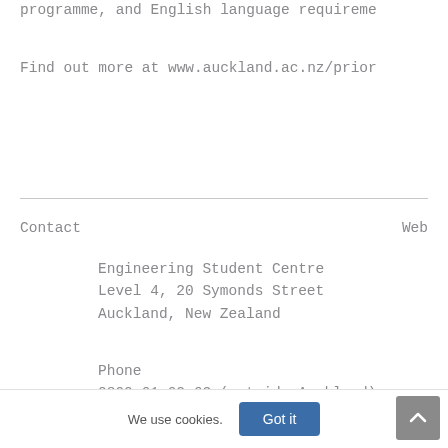programme, and English language requireme
Find out more at www.auckland.ac.nz/prior
Contact
Engineering Student Centre
Level 4, 20 Symonds Street
Auckland, New Zealand
Phone
0800 61 62 63 (outside Auckland)
Web
We use cookies.
Got it